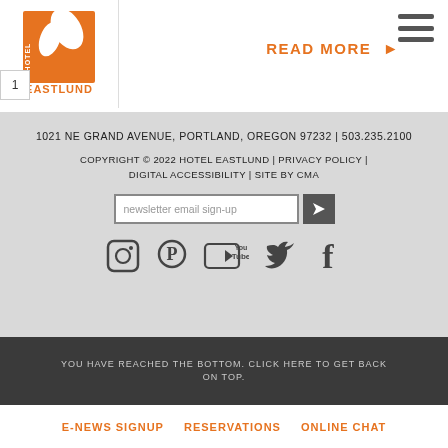[Figure (logo): Hotel Eastlund logo: orange square with white leaf/bird graphic and text 'HOTEL EASTLUND']
READ MORE ▶
1021 NE GRAND AVENUE, PORTLAND, OREGON 97232 | 503.235.2100
COPYRIGHT © 2022 HOTEL EASTLUND | PRIVACY POLICY | DIGITAL ACCESSIBILITY | SITE BY CMA
newsletter email sign-up
[Figure (infographic): Social media icons row: Instagram, Pinterest, YouTube, Twitter, Facebook]
YOU HAVE REACHED THE BOTTOM. CLICK HERE TO GET BACK ON TOP.
E-NEWS SIGNUP   RESERVATIONS   ONLINE CHAT